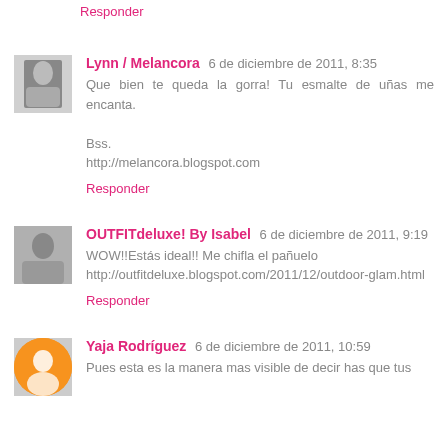Responder
Lynn / Melancora 6 de diciembre de 2011, 8:35
Que bien te queda la gorra! Tu esmalte de uñas me encanta.

Bss.
http://melancora.blogspot.com
Responder
OUTFITdeluxe! By Isabel 6 de diciembre de 2011, 9:19
WOW!!Estás ideal!! Me chifla el pañuelo http://outfitdeluxe.blogspot.com/2011/12/outdoor-glam.html
Responder
Yaja Rodríguez 6 de diciembre de 2011, 10:59
Pues esta es la manera mas visible de decir has que tus